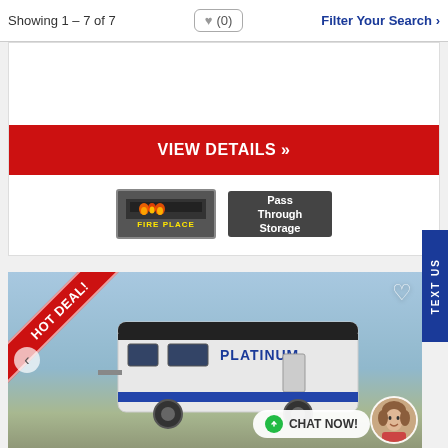Showing 1 – 7 of 7   ♥ (0)   Filter Your Search ›
VIEW DETAILS »
[Figure (photo): Fireplace badge icon with yellow 'FIRE PLACE' text on dark background with flame graphic]
[Figure (photo): Pass Through Storage badge with white bold text on dark background]
[Figure (photo): RV listing photo showing a Platinum travel trailer with 'HOT DEAL!' ribbon banner, blue sky background, with chat now button and avatar overlay]